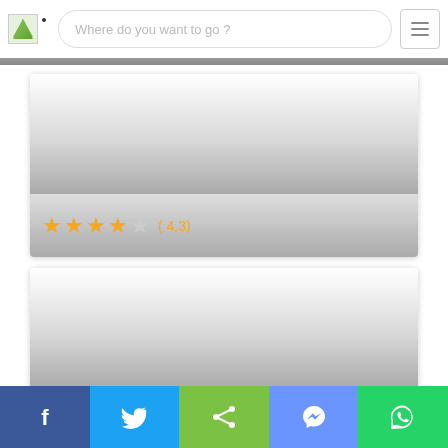[Figure (screenshot): App header with logo image, search bar reading 'Where do you want to go ?', and hamburger menu button]
[Figure (screenshot): Travel listing card 1 with gradient image area and 4.3 star rating (★★★★☆ (4.3))]
[Figure (screenshot): Travel listing card 2 with gradient image area and 4.3 star rating (★★★★☆ (4.3))]
[Figure (screenshot): Social sharing bar with Facebook, Twitter, Share, Messenger, and WhatsApp buttons]